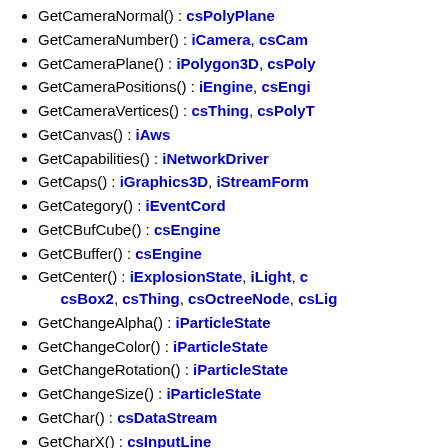GetCameraNormal() : csPolyPlane
GetCameraNumber() : iCamera, csCam...
GetCameraPlane() : iPolygon3D, csPoly...
GetCameraPositions() : iEngine, csEngi...
GetCameraVertices() : csThing, csPolyT...
GetCanvas() : iAws
GetCapabilities() : iNetworkDriver
GetCaps() : iGraphics3D, iStreamForm...
GetCategory() : iEventCord
GetCBufCube() : csEngine
GetCBuffer() : csEngine
GetCenter() : iExplosionState, iLight, c... csBox2, csThing, csOctreeNode, csLig...
GetChangeAlpha() : iParticleState
GetChangeColor() : iParticleState
GetChangeRotation() : iParticleState
GetChangeSize() : iParticleState
GetChar() : csDataStream
GetCharX() : csInputLine
GetChild() : iObject, csComponent, cs...
GetChildAt() : iAwsComponent, csCom...
GetChildCount() : iAwsComponent
GetChildren() : iSkeletonLimbState, iS... iSkeletonBone, iMeshFactoryWrapper... csMeshWrapper